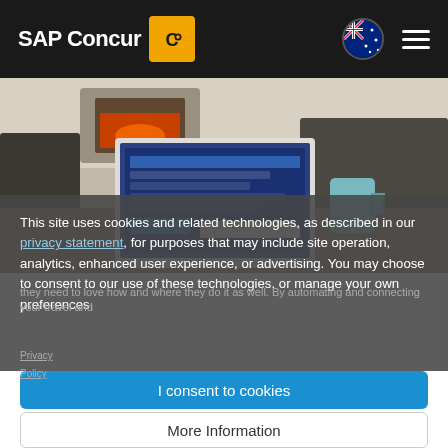SAP Concur
[Figure (screenshot): Photo of a laptop on a dining table in a home setting with a fireplace in the background and a teal mug on the right. The laptop displays a software interface (SAP Concur expense/travel management tool).]
This site uses cookies and related technologies, as described in our privacy statement, for purposes that may include site operation, analytics, enhanced user experience, or advertising. You may choose to consent to our use of these technologies, or manage your own preferences.
I consent to cookies
More Information
they need to love how and where they do it as well. By automating and connecting your travel and expense processes, you can keep your employees